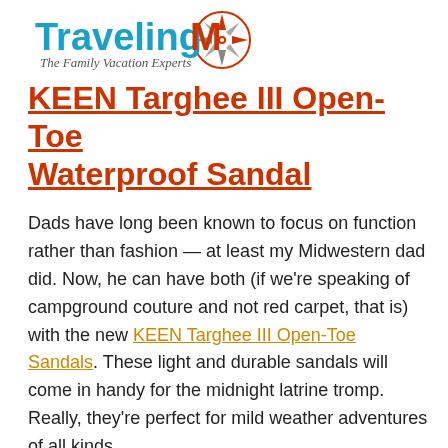[Figure (logo): TravelingMom logo with compass rose icon and tagline 'The Family Vacation Experts']
KEEN Targhee III Open-Toe Waterproof Sandal
Dads have long been known to focus on function rather than fashion — at least my Midwestern dad did. Now, he can have both (if we're speaking of campground couture and not red carpet, that is) with the new KEEN Targhee III Open-Toe Sandals. These light and durable sandals will come in handy for the midnight latrine tromp. Really, they're perfect for mild weather adventures of all kinds.